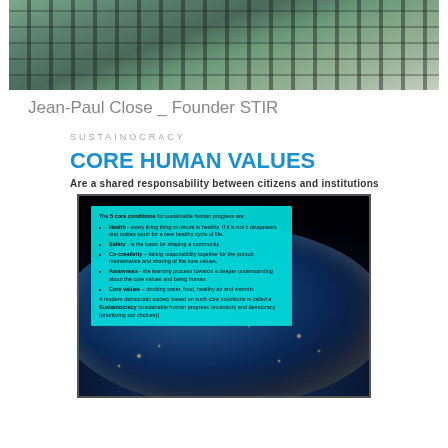[Figure (photo): Close-up photo of a person wearing a plaid/checkered shirt, cropped to show chest/torso area with a blurred background]
Jean-Paul Close _ Founder STIR
SUSTAINOCRACY
CORE HUMAN VALUES
Are a shared responsability between citizens and institutions
[Figure (infographic): Image of Earth from space at night showing city lights, overlaid with a cyan info box listing the 5 core conditions for sustainable human progress: Health, Safety, Co-creativity, Awareness, Core values. Bottom text describes a modern democratic society based on core conditions called a Sustainocracy.]